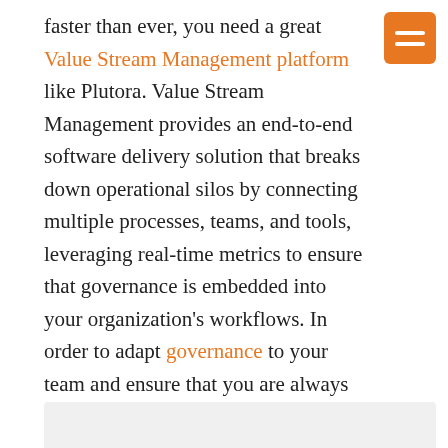faster than ever, you need a great Value Stream Management platform like Plutora. Value Stream Management provides an end-to-end software delivery solution that breaks down operational silos by connecting multiple processes, teams, and tools, leveraging real-time metrics to ensure that governance is embedded into your organization's workflows. In order to adapt governance to your team and ensure that you are always compliant, automate and keep track of the entire process with Plutora.